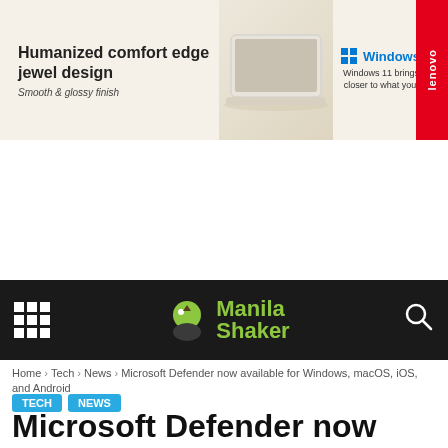[Figure (photo): Lenovo advertisement banner showing a laptop with Windows 11 branding. Text reads 'Humanized comfort edge jewel design', 'Smooth & glossy finish', and 'Windows 11 brings you closer to what you love'. Lenovo logo on red tab on right.]
[Figure (logo): Manila Shaker website navigation bar with grid menu icon on left, Manila Shaker logo in center, and search icon on right. Dark background.]
Home › Tech › News › Microsoft Defender now available for Windows, macOS, iOS, and Android
TECH
NEWS
Microsoft Defender now